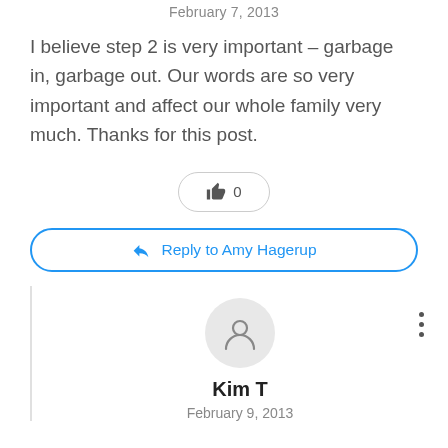February 7, 2013
I believe step 2 is very important – garbage in, garbage out. Our words are so very important and affect our whole family very much. Thanks for this post.
[Figure (other): Like button with thumbs-up icon and count 0]
[Figure (other): Reply to Amy Hagerup button with reply arrow icon]
[Figure (other): User avatar circle with person silhouette icon]
Kim T
February 9, 2013